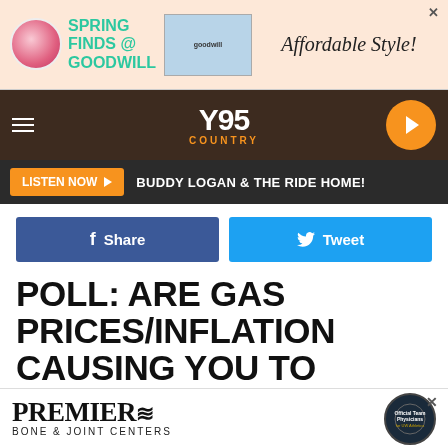[Figure (other): Goodwill advertisement banner: Spring Finds @ Goodwill, Affordable Style!]
[Figure (logo): Y95 Country radio station navigation bar with hamburger menu, Y95 Country logo, and orange play button]
LISTEN NOW ▶  BUDDY LOGAN & THE RIDE HOME!
Share  Tweet
POLL: ARE GAS PRICES/INFLATION CAUSING YOU TO SCALE BACK SUMMER PLANS?
Doug Randall
Published: July 9, 2022
[Figure (other): Premier Bone & Joint Centers advertisement banner with UW Athletics logo]